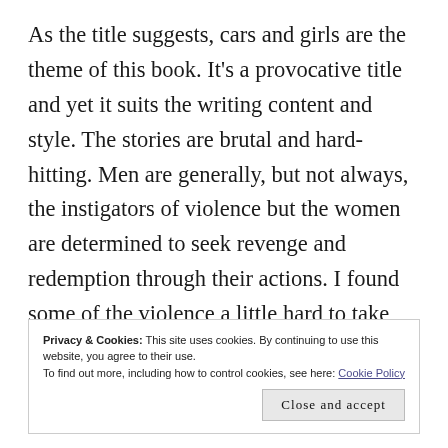As the title suggests, cars and girls are the theme of this book. It's a provocative title and yet it suits the writing content and style. The stories are brutal and hard-hitting. Men are generally, but not always, the instigators of violence but the women are determined to seek revenge and redemption through their actions. I found some of the violence a little hard to take but I suspect this is because I'm not particularly used to the noir style and it's certainly no worse than
Privacy & Cookies: This site uses cookies. By continuing to use this website, you agree to their use.
To find out more, including how to control cookies, see here: Cookie Policy
Close and accept